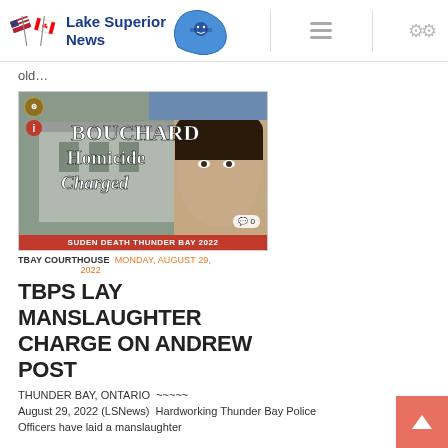Lake Superior News
old...
[Figure (photo): News thumbnail showing a courthouse exterior and a person's face with overlay text: BOUCHARD Homicide Charged. Red banner reads: SUDEN DEATH THUNDER BAY 2022. Comment bubble shows 0.]
TBAY COURTHOUSE   MONDAY, AUGUST 29, 2022
TBPS LAY MANSLAUGHTER CHARGE ON ANDREW POST
THUNDER BAY, ONTARIO  ~~~~~
August 29, 2022 (LSNews)  Hardworking Thunder Bay Police Officers have laid a manslaughter